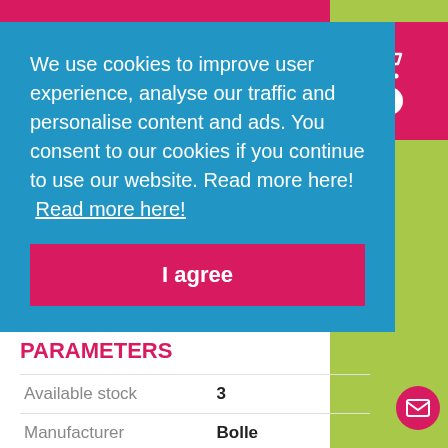We use cookies to improve user experience, analyse our traffic and personalise content and ads. You consent to our cookies if you continue to use our website. Read more here! Read more here!
I agree
PARAMETERS
| Parameter | Value |
| --- | --- |
| Available stock | 3 |
| Manufacturer | Bolle |
| Gender | Men's |
| Shape | Oval |
| Rim type | Full rim |